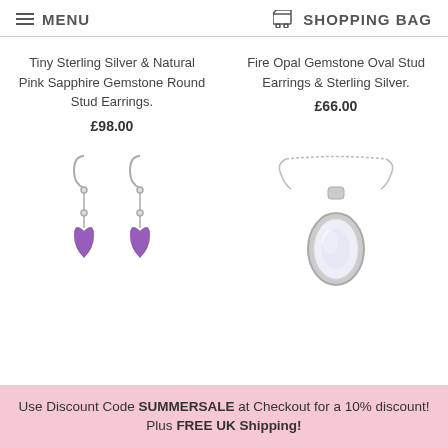MENU  SHOPPING BAG
Tiny Sterling Silver & Natural Pink Sapphire Gemstone Round Stud Earrings.
£98.00
Fire Opal Gemstone Oval Stud Earrings & Sterling Silver.
£66.00
[Figure (photo): Two purple amethyst heart-shaped gemstone earrings on silver fish-hook wires.]
[Figure (photo): Oval white moonstone pendant on a silver chain necklace.]
Use Discount Code SUMMERSALE at Checkout for a 10% discount! Plus FREE UK Shipping!